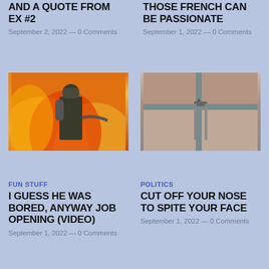AND A QUOTE FROM EX #2
September 2, 2022 — 0 Comments
THOSE FRENCH CAN BE PASSIONATE
September 1, 2022 — 0 Comments
[Figure (photo): Firefighter in gear with breathing apparatus fighting a large fire with orange flames in the background]
[Figure (photo): Aerial or close-up view of a rooftop structure or drainage system, showing metal gutters and a junction on a red/brown surface]
FUN STUFF
I GUESS HE WAS BORED, ANYWAY JOB OPENING (VIDEO)
September 1, 2022 — 0 Comments
POLITICS
CUT OFF YOUR NOSE TO SPITE YOUR FACE
September 1, 2022 — 0 Comments